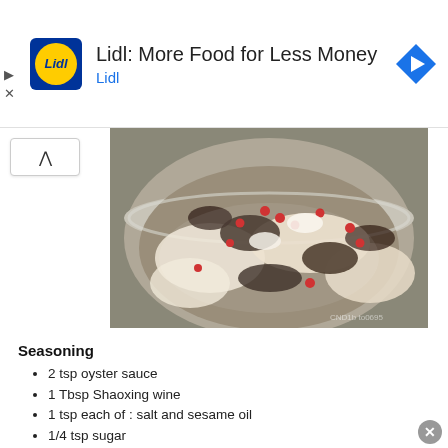[Figure (other): Lidl advertisement banner with yellow circular logo showing 'Lidl' text on blue background, title 'Lidl: More Food for Less Money', subtitle 'Lidl', and a blue diamond direction arrow icon on the right]
[Figure (photo): A bowl of raw chicken pieces marinated with wood ear mushrooms, goji berries (red), garlic, and other ingredients in a metal bowl]
Seasoning
2  tsp oyster sauce
1  Tbsp Shaoxing wine
1 tsp each of :  salt and sesame oil
1/4  tsp sugar
1/2  tsp light soya sauce